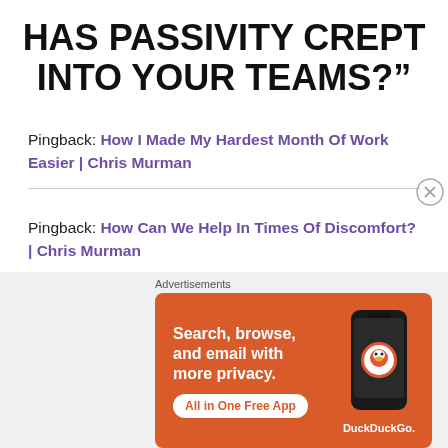HAS PASSIVITY CREPT INTO YOUR TEAMS?”
Pingback: How I Made My Hardest Month Of Work Easier | Chris Murman
Pingback: How Can We Help In Times Of Discomfort? | Chris Murman
[Figure (other): DuckDuckGo advertisement banner: orange background with text 'Search, browse, and email with more privacy. All in One Free App' and an image of a phone with the DuckDuckGo logo]